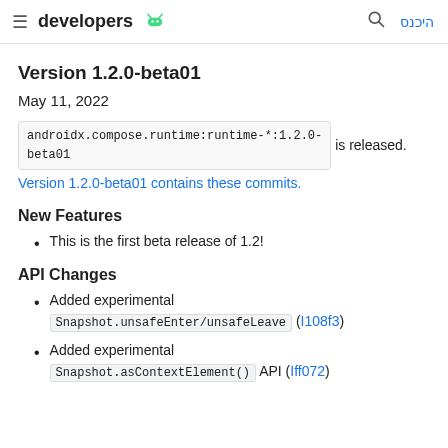developers
Version 1.2.0-beta01
May 11, 2022
androidx.compose.runtime:runtime-*:1.2.0-beta01 is released. Version 1.2.0-beta01 contains these commits.
New Features
This is the first beta release of 1.2!
API Changes
Added experimental Snapshot.unsafeEnter/unsafeLeave (I108f3)
Added experimental Snapshot.asContextElement() API (Iff072)